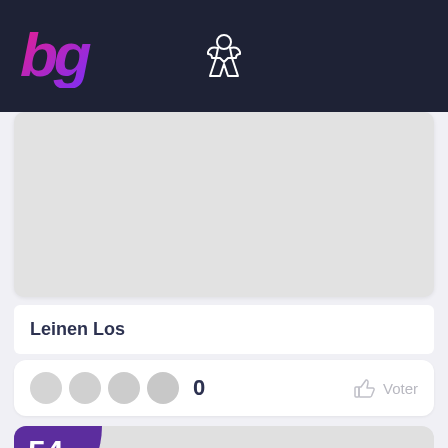bg (board game website header with meeple icon)
[Figure (screenshot): Gray placeholder image area for a board game card]
Leinen Los
0  Voter
[Figure (screenshot): Gray placeholder card image with purple badge showing number 54]